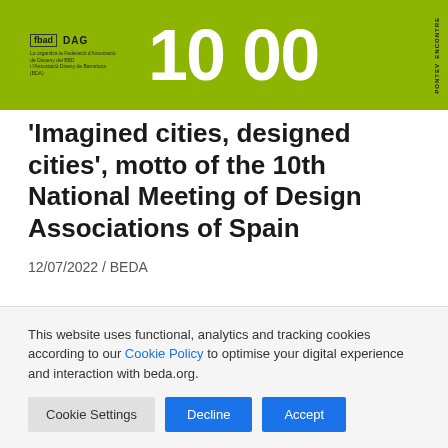[Figure (other): Green banner with FAD and DAG logos on the left and large white '10 00' numbers in the center, with vertical text on the right edge]
'Imagined cities, designed cities', motto of the 10th National Meeting of Design Associations of Spain
12/07/2022 / BEDA
This website uses functional, analytics and tracking cookies according to our Cookie Policy to optimise your digital experience and interaction with beda.org.